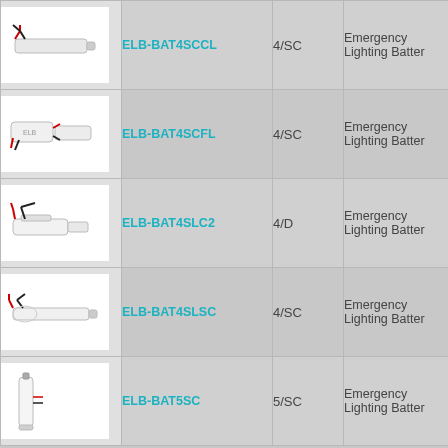| Image | Part Number | Config | Description |
| --- | --- | --- | --- |
| [image] | ELB-BAT4SCCL | 4/SC | Emergency Lighting Batter |
| [image] | ELB-BAT4SCFL | 4/SC | Emergency Lighting Batter |
| [image] | ELB-BAT4SLC2 | 4/D | Emergency Lighting Batter |
| [image] | ELB-BAT4SLSC | 4/SC | Emergency Lighting Batter |
| [image] | ELB-BAT5SC | 5/SC | Emergency Lighting Batter |